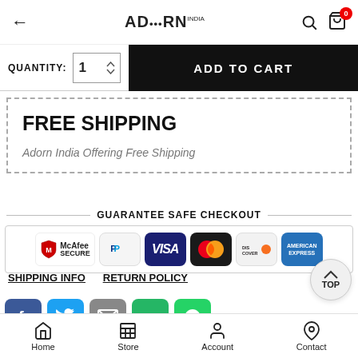Adorn India — navigation header with back arrow, logo, search, and cart (0)
QUANTITY: 1  |  ADD TO CART
FREE SHIPPING
Adorn India Offering Free Shipping
GUARANTEE SAFE CHECKOUT
[Figure (logo): Payment method logos: McAfee Secure, PayPal, Visa, Mastercard, Discover, American Express]
SHIPPING INFO   RETURN POLICY
[Figure (infographic): Social media share icons: Facebook, Twitter, Email, SMS, WhatsApp]
Home  Store  Account  Contact